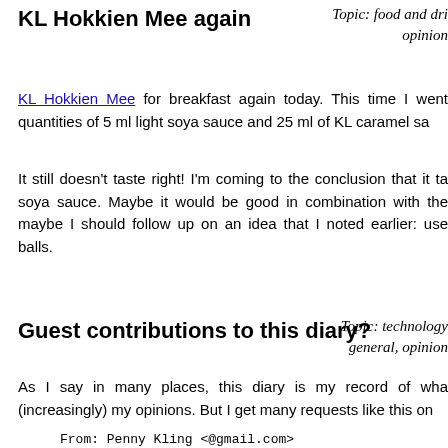KL Hokkien Mee again
Topic: food and dri
opinion
KL Hokkien Mee for breakfast again today. This time I went quantities of 5 ml light soya sauce and 25 ml of KL caramel sa
It still doesn't taste right! I'm coming to the conclusion that it ta soya sauce. Maybe it would be good in combination with the maybe I should follow up on an idea that I noted earlier: use balls.
Guest contributions to this diary?
Topic: technology general, opinion
As I say in many places, this diary is my record of wha (increasingly) my opinions. But I get many requests like this on
From: Penny Kling <@gmail.com>
Subject: Guest Post Request

Greetings! I would like to contribute to your
website by adding a guest
post. Do you have any specific requirements I
should follow?